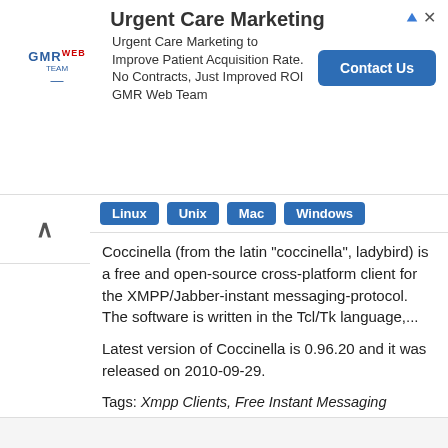[Figure (screenshot): Ad banner for Urgent Care Marketing by GMR Web Team with Contact Us button]
Coccinella (from the latin "coccinella", ladybird) is a free and open-source cross-platform client for the XMPP/Jabber-instant messaging-protocol. The software is written in the Tcl/Tk language,...
Latest version of Coccinella is 0.96.20 and it was released on 2010-09-29.
Tags: Xmpp Clients, Free Instant Messaging Clients, Free Voip Software, Free Software Projects, Free Software Programmed In Tcl, Instant Messaging Clients For Linux, Macos Internet Software, Windows Instant Messaging Clients, 1999 Software, Software That Uses Tk